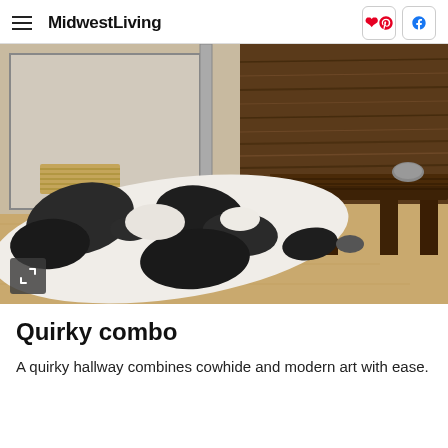MidwestLiving
[Figure (photo): A hallway with a black and white cowhide rug on a light wood floor, a rustic dark wooden bench against a reclaimed wood wall, and a mirror or glass door on the left side. A rock decoration sits on the bench. An expand/fullscreen icon is in the lower left corner of the image.]
Quirky combo
A quirky hallway combines cowhide and modern art with ease.